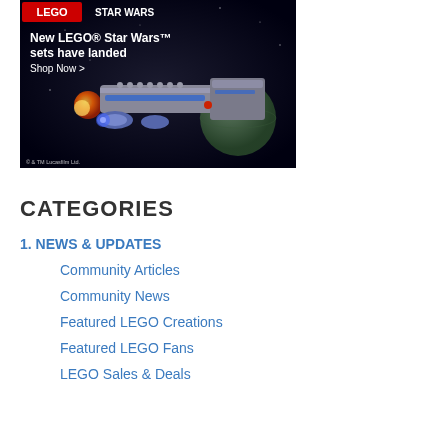[Figure (screenshot): LEGO Star Wars advertisement banner showing a spacecraft with text 'New LEGO® Star Wars™ sets have landed' and 'Shop Now >' with Lucasfilm copyright notice]
CATEGORIES
1. NEWS & UPDATES
Community Articles
Community News
Featured LEGO Creations
Featured LEGO Fans
LEGO Sales & Deals